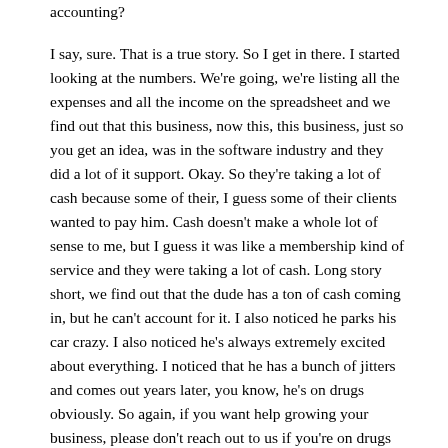accounting?
I say, sure. That is a true story. So I get in there. I started looking at the numbers. We're going, we're listing all the expenses and all the income on the spreadsheet and we find out that this business, now this, this business, just so you get an idea, was in the software industry and they did a lot of it support. Okay. So they're taking a lot of cash because some of their, I guess some of their clients wanted to pay him. Cash doesn't make a whole lot of sense to me, but I guess it was like a membership kind of service and they were taking a lot of cash. Long story short, we find out that the dude has a ton of cash coming in, but he can't account for it. I also noticed he parks his car crazy. I also noticed he's always extremely excited about everything. I noticed that he has a bunch of jitters and comes out years later, you know, he's on drugs obviously. So again, if you want help growing your business, please don't reach out to us if you're on drugs because it's so awkward. I mean, Robert, I mean, have you ever had to bring up a conversation with a client like, Hey, are you high right